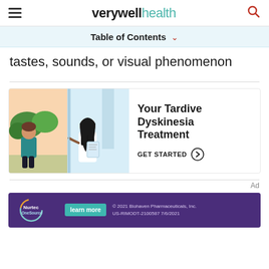verywell health
Table of Contents
tastes, sounds, or visual phenomenon
[Figure (illustration): Illustration of a patient and doctor discussing treatment; split scene with outdoor nature background on left and indoor clinic on right]
Your Tardive Dyskinesia Treatment
GET STARTED
Ad
[Figure (logo): Nurtec OneSource advertisement banner with teal learn more button and copyright notice: © 2021 Biohaven Pharmaceuticals, Inc. US-RIMODT-2100587 7/6/2021]